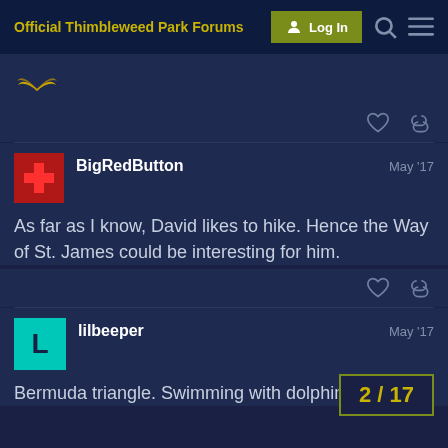Official Thimbleweed Park Forums
[Figure (screenshot): Partial forum post with wings avatar emoji from previous post]
BigRedButton
May '17

As far as I know, David likes to hike. Hence the Way of St. James could be interesting for him.
lilbeeper
May '17

Bermuda triangle. Swimming with dolphins
2 / 17